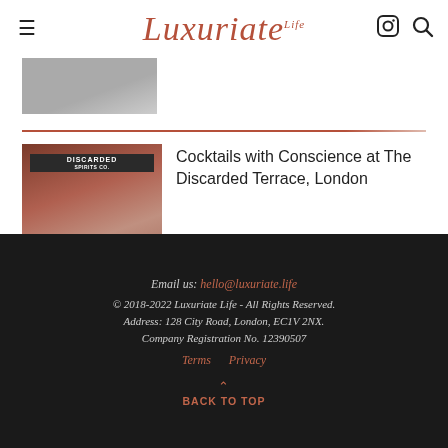Luxuriate Life (logo with Instagram and search icons)
[Figure (photo): Partial view of an image at the top left, grey/muted tones, cropped]
[Figure (photo): Thumbnail image of The Discarded Terrace bar setup with cocktails, orange/red tones, 'DISCARDED' banner text visible]
Cocktails with Conscience at The Discarded Terrace, London
Email us: hello@luxuriate.life © 2018-2022 Luxuriate Life - All Rights Reserved. Address: 128 City Road, London, EC1V 2NX. Company Registration No. 12390507 Terms  Privacy BACK TO TOP